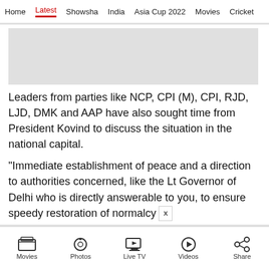Home  Latest  Showsha  India  Asia Cup 2022  Movies  Cricket
[Figure (other): Gray advertisement placeholder rectangle]
Leaders from parties like NCP, CPI (M), CPI, RJD, LJD, DMK and AAP have also sought time from President Kovind to discuss the situation in the national capital.
"Immediate establishment of peace and a direction to authorities concerned, like the Lt Governor of Delhi who is directly answerable to you, to ensure speedy restoration of normalcy
Movies  Photos  Live TV  Videos  Share